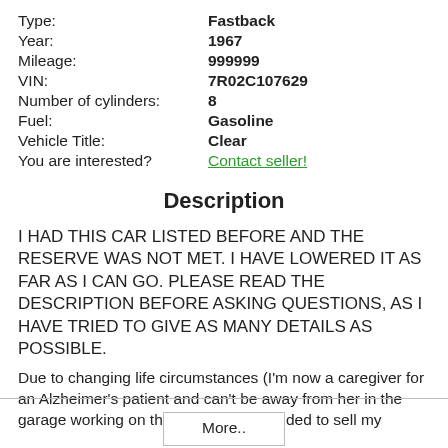Type: Fastback
Year: 1967
Mileage: 999999
VIN: 7R02C107629
Number of cylinders: 8
Fuel: Gasoline
Vehicle Title: Clear
You are interested? Contact seller!
Description
I HAD THIS CAR LISTED BEFORE AND THE RESERVE WAS NOT MET. I HAVE LOWERED IT AS FAR AS I CAN GO. PLEASE READ THE DESCRIPTION BEFORE ASKING QUESTIONS, AS I HAVE TRIED TO GIVE AS MANY DETAILS AS POSSIBLE.
Due to changing life circumstances (I'm now a caregiver for an Alzheimer's patient and can't be away from her in the garage working on the car), I have decided to sell my
More..